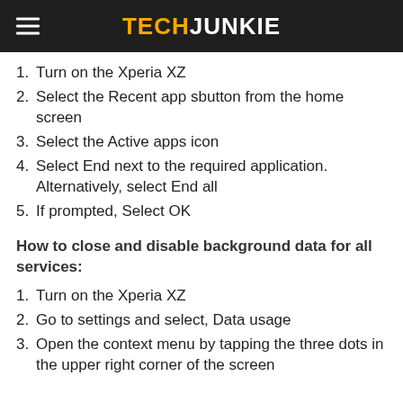TECHJUNKIE
1. Turn on the Xperia XZ
2. Select the Recent app sbutton from the home screen
3. Select the Active apps icon
4. Select End next to the required application. Alternatively, select End all
5. If prompted, Select OK
How to close and disable background data for all services:
1. Turn on the Xperia XZ
2. Go to settings and select, Data usage
3. Open the context menu by tapping the three dots in the upper right corner of the screen